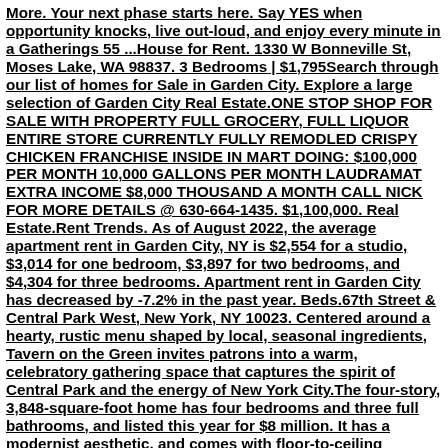More. Your next phase starts here. Say YES when opportunity knocks, live out-loud, and enjoy every minute in a Gatherings 55 ...House for Rent. 1330 W Bonneville St, Moses Lake, WA 98837. 3 Bedrooms | $1,795Search through our list of homes for Sale in Garden City. Explore a large selection of Garden City Real Estate.ONE STOP SHOP FOR SALE WITH PROPERTY FULL GROCERY, FULL LIQUOR ENTIRE STORE CURRENTLY FULLY REMODLED CRISPY CHICKEN FRANCHISE INSIDE IN MART DOING: $100,000 PER MONTH 10,000 GALLONS PER MONTH LAUDRAMAT EXTRA INCOME $8,000 THOUSAND A MONTH CALL NICK FOR MORE DETAILS @ 630-664-1435. $1,100,000. Real Estate.Rent Trends. As of August 2022, the average apartment rent in Garden City, NY is $2,554 for a studio, $3,014 for one bedroom, $3,897 for two bedrooms, and $4,304 for three bedrooms. Apartment rent in Garden City has decreased by -7.2% in the past year. Beds.67th Street & Central Park West, New York, NY 10023. Centered around a hearty, rustic menu shaped by local, seasonal ingredients, Tavern on the Green invites patrons into a warm, celebratory gathering space that captures the spirit of Central Park and the energy of New York City.The four-story, 3,848-square-foot home has four bedrooms and three full bathrooms, and listed this year for $8 million. It has a modernist aesthetic, and comes with floor-to-ceiling windows, a ...Search Garden City, NY